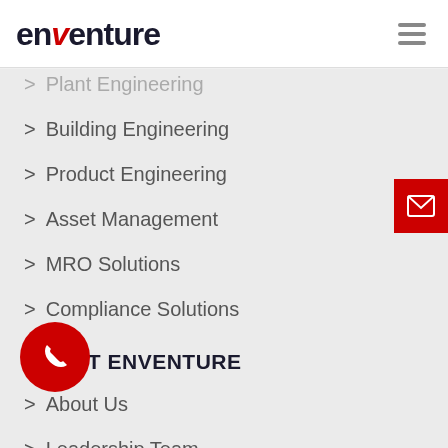enventure
Plant Engineering
Building Engineering
Product Engineering
Asset Management
MRO Solutions
Compliance Solutions
ABOUT ENVENTURE
About Us
Leadership Team
Practices
Customer Testimonials
Careers